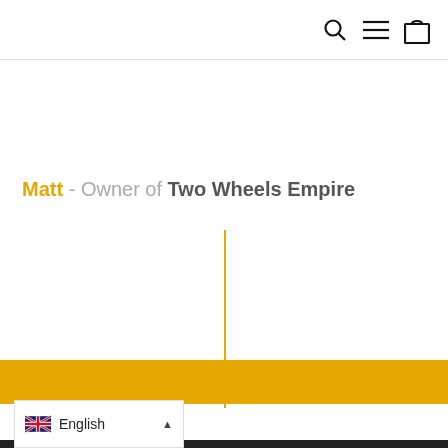[Figure (screenshot): Website navigation bar with search icon, hamburger menu icon, and shopping bag icon on the right]
Matt - Owner of Two Wheels Empire
[Figure (other): Vertical golden/amber line divider]
[Figure (other): Golden/amber horizontal footer bar]
[Figure (other): Language selector dropdown showing UK flag and English label with up arrow, on dark bottom bar]